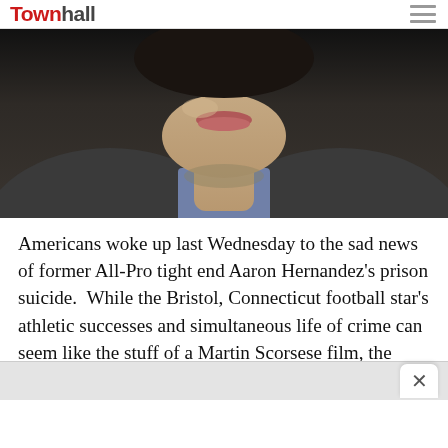TownHall
[Figure (photo): Close-up photo of a man's face and upper body, wearing a grey suit jacket and blue shirt, viewed from chin down.]
Americans woke up last Wednesday to the sad news of former All-Pro tight end Aaron Hernandez’s prison suicide.  While the Bristol, Connecticut football star’s athletic successes and simultaneous life of crime can seem like the stuff of a Martin Scorsese film, the truth is that his story reflects a generational cycle of crime, broken families, and economic despair that many New Englanders are all too familiar with.